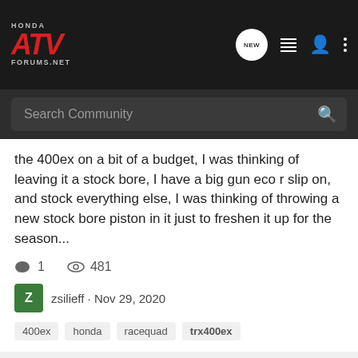Honda ATV Forums.net — header with search bar
the 400ex on a bit of a budget, I was thinking of leaving it a stock bore, I have a big gun eco r slip on, and stock everything else, I was thinking of throwing a new stock bore piston in it just to freshen it up for the season...
1 comment · 481 views
zsilieff · Nov 29, 2020
400ex
honda
racequad
trx400ex
03 TRX400EX Rear Swingarm Removal HELP
Repair & Maintenance
okay, so ive got a new rear swingarm and all pretty much a entire brand new rear end. problem is i cannot for the life of me get my rear swingarm bolt out. ive tried a ton of pb